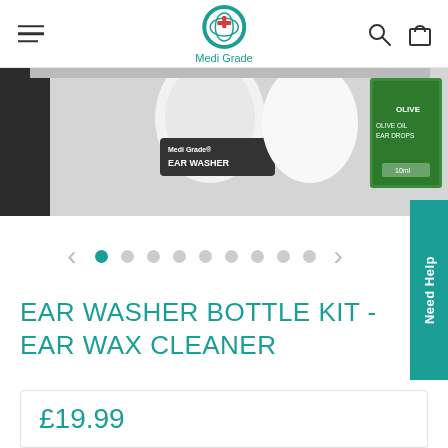Medi Grade
[Figure (photo): Product photo showing Medi Grade Ear Washer bottle kit alongside olive oil ear drops packaging on a white surface]
[Figure (other): Carousel navigation with left arrow, 9 dots (first dot active in teal), and right arrow]
EAR WASHER BOTTLE KIT - EAR WAX CLEANER
£19.99